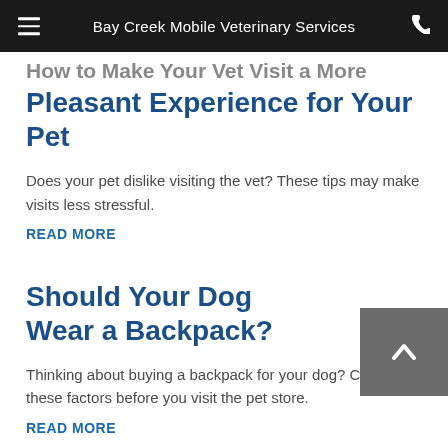Bay Creek Mobile Veterinary Services
How to Make Your Vet Visit a More Pleasant Experience for Your Pet
Does your pet dislike visiting the vet? These tips may make visits less stressful.
READ MORE
Should Your Dog Wear a Backpack?
Thinking about buying a backpack for your dog? Consider these factors before you visit the pet store.
READ MORE